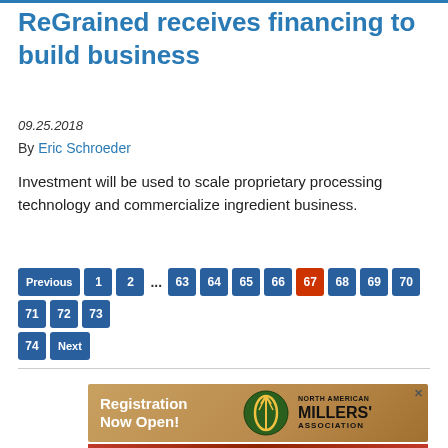ReGrained receives financing to build business
09.25.2018
By Eric Schroeder
Investment will be used to scale proprietary processing technology and commercialize ingredient business.
[Figure (other): Pagination navigation bar with buttons: Previous, 1, 2, ..., 63, 64, 65, 66, 67 (current, highlighted in red), 68, 69, 70, 71, 72, 73, 74, Next]
[Figure (other): Advertisement banner for North American Millers Association - Registration Now Open!]